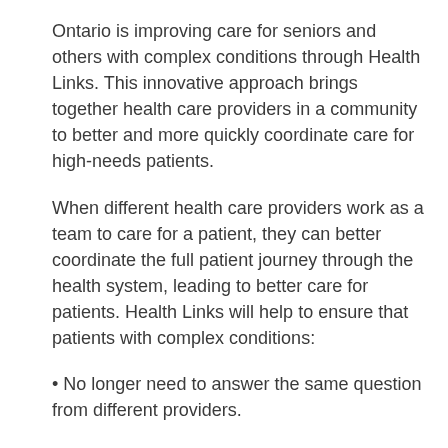Ontario is improving care for seniors and others with complex conditions through Health Links. This innovative approach brings together health care providers in a community to better and more quickly coordinate care for high-needs patients.
When different health care providers work as a team to care for a patient, they can better coordinate the full patient journey through the health system, leading to better care for patients. Health Links will help to ensure that patients with complex conditions:
No longer need to answer the same question from different providers.
Have support to ensure they are taking the right medications appropriately.
Have a care provider they can call, eliminating unnecessary provider visits.
Have an individualized comprehensive plan, developed with